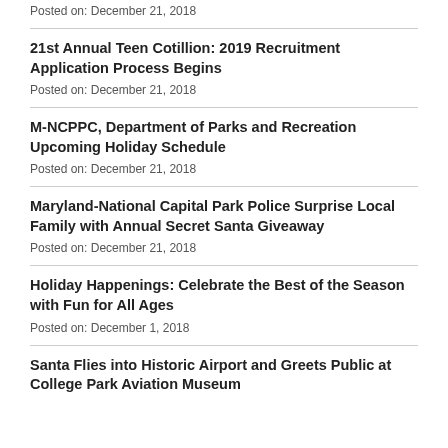Posted on: December 21, 2018
21st Annual Teen Cotillion: 2019 Recruitment Application Process Begins
Posted on: December 21, 2018
M-NCPPC, Department of Parks and Recreation Upcoming Holiday Schedule
Posted on: December 21, 2018
Maryland-National Capital Park Police Surprise Local Family with Annual Secret Santa Giveaway
Posted on: December 21, 2018
Holiday Happenings: Celebrate the Best of the Season with Fun for All Ages
Posted on: December 1, 2018
Santa Flies into Historic Airport and Greets Public at College Park Aviation Museum